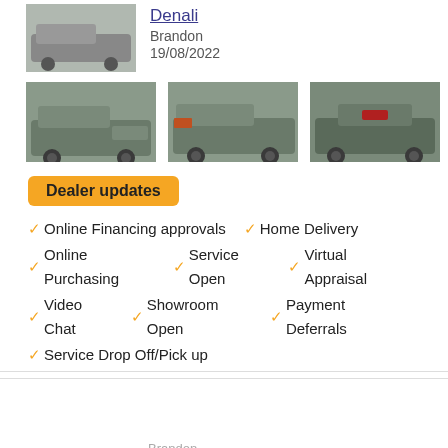[Figure (photo): Partial thumbnail of a GMC Sierra truck, top portion cropped]
Denali
Brandon
19/08/2022
[Figure (photo): GMC Sierra truck side view, dark grey]
[Figure (photo): GMC Sierra truck front-side view, dark grey]
[Figure (photo): GMC Sierra truck rear view, dark grey]
Dealer updates
Online Financing approvals
Home Delivery
Online Purchasing
Service Open
Virtual Appraisal
Video Chat
Showroom Open
Payment Deferrals
Service Drop Off/Pick up
[Figure (photo): 2018 Ford F-150 Lariat white truck, with Platinum Pro-Owned and ProActive badges]
$46,799.00
$47,991.00
[Figure (logo): King of Trucks dealer logo]
2018 Ford F-150 Lariat
Brandon